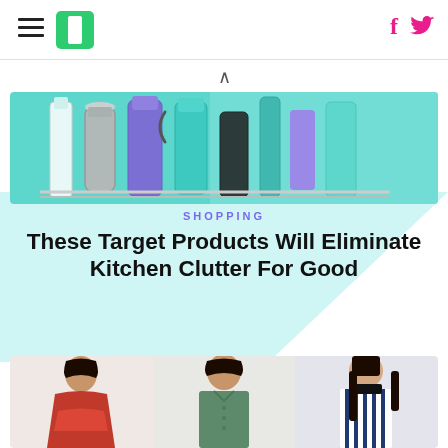HuffPost navigation header with hamburger menu, logo, Facebook and Twitter icons
[Figure (photo): Close-up photo of kitchen water bottles and containers in teal/aqua colors on a rack]
SHOPPING
These Target Products Will Eliminate Kitchen Clutter For Good
[Figure (photo): Three fashion models: woman in red tiered dress, man in sage green button-down shirt, woman in navy striped vest]